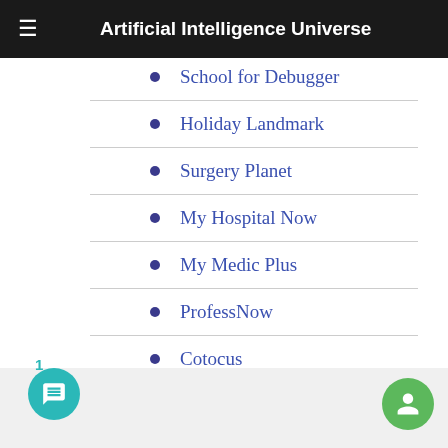Artificial Intelligence Universe
School for Debugger
Holiday Landmark
Surgery Planet
My Hospital Now
My Medic Plus
ProfessNow
Cotocus
Stocks Mantra
I Reviewed